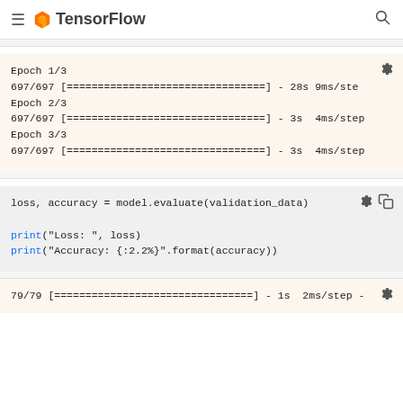TensorFlow
Epoch 1/3
697/697 [================================] - 28s 9ms/ste
Epoch 2/3
697/697 [================================] - 3s 4ms/step
Epoch 3/3
697/697 [================================] - 3s 4ms/step
loss, accuracy = model.evaluate(validation_data)

print("Loss: ", loss)
print("Accuracy: {:2.2%}".format(accuracy))
79/79 [================================] - 1s 2ms/step -